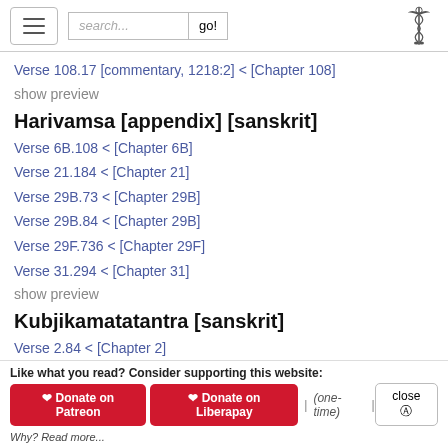search... go!
Verse 108.17 [commentary, 1218:2] < [Chapter 108]
show preview
Harivamsa [appendix] [sanskrit]
Verse 6B.108 < [Chapter 6B]
Verse 21.184 < [Chapter 21]
Verse 29B.73 < [Chapter 29B]
Verse 29B.84 < [Chapter 29B]
Verse 29F.736 < [Chapter 29F]
Verse 31.294 < [Chapter 31]
show preview
Kubjikamatatantra [sanskrit]
Verse 2.84 < [Chapter 2]
Verse 3.98 < [Chapter 3]
Verse 3.110 < [Chapter 3]
Verse 3.111 < [Chapter 3]
Like what you read? Consider supporting this website: ♥ Donate on Patreon ♥ Donate on Liberapay | (one-time) | close Why? Read more...